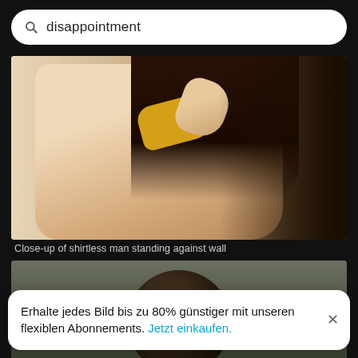disappointment
[Figure (photo): Close-up of shirtless person with yellow scarf/bandana around neck, hand raised near face, against a light wall with dark background on right side.]
Close-up of shirtless man standing against wall
[Figure (photo): Back of a man's head with dark hair against blurred grey-green background.]
Erhalte jedes Bild bis zu 80% günstiger mit unseren flexiblen Abonnements. Jetzt einkaufen.